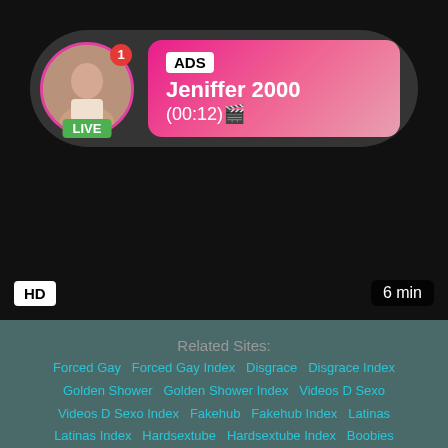[Figure (screenshot): Video player thumbnail showing a live cam ad overlay with avatar, ADS label, username Jeniffer 2000, timestamp (00:12), LIVE badge, HD badge, and 6 min duration]
Sexy Wrestling Lesbian European Lesbians
lesbian, european, lesbians, babe, amateur, pussylicking,...
Related Sites:
Forced Gay   Forced Gay Index   Disgrace   Disgrace Index   Golden Shower   Golden Shower Index   Videos D Sexo   Videos D Sexo Index   Fakehub   Fakehub Index   Latinas   Latinas Index   Hardsextube   Hardsextube Index   Boobies